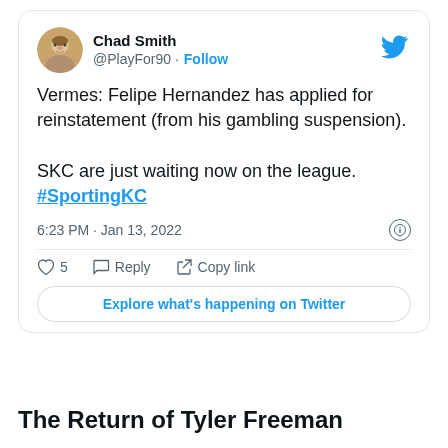[Figure (screenshot): Embedded tweet card from @PlayFor90 (Chad Smith) dated 6:23 PM Jan 13, 2022. Text: 'Vermes: Felipe Hernandez has applied for reinstatement (from his gambling suspension). SKC are just waiting now on the league. #SportingKC'. Includes like count of 5, Reply and Copy link actions, and Explore what's happening on Twitter button.]
The Return of Tyler Freeman